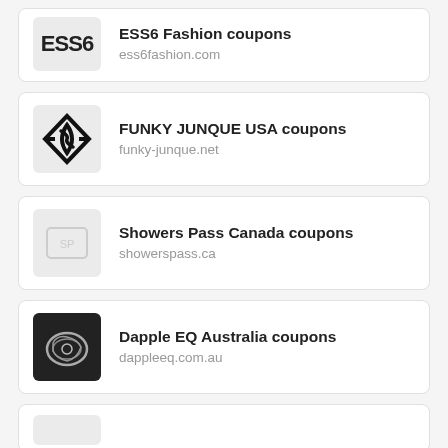ESS6 Fashion coupons
ess6fashion.com
FUNKY JUNQUE USA coupons
funky-junque.net
Showers Pass Canada coupons
showerspass.ca
Dapple EQ Australia coupons
dappleeq.com.au
(partial card at bottom)